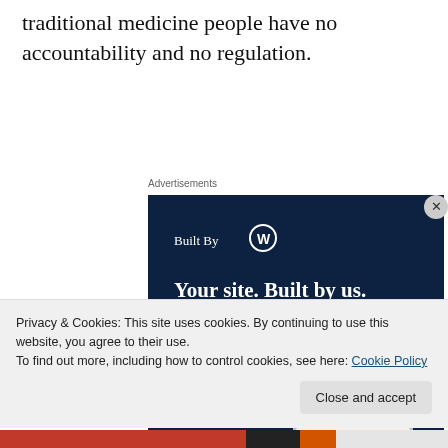traditional medicine people have no accountability and no regulation.
[Figure (screenshot): WordPress 'Built By' advertisement banner with dark navy background showing 'Built By WP logo', headline 'Your site. Built by us. Built for you.' and a 'Get a quote now' button with decorative device/website mockup images on the right side]
Privacy & Cookies: This site uses cookies. By continuing to use this website, you agree to their use.
To find out more, including how to control cookies, see here: Cookie Policy
Close and accept